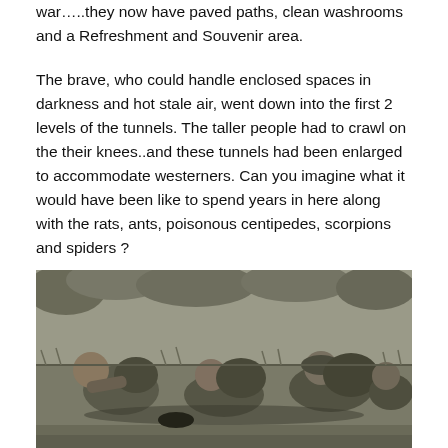war…..they now have paved paths, clean washrooms and a Refreshment and Souvenir area.
The brave, who could handle enclosed spaces in darkness and hot stale air, went down into the first 2 levels of the tunnels. The taller people had to crawl on the their knees..and these tunnels had been enlarged to accommodate westerners. Can you imagine what it would have been like to spend years in here along with the rats, ants, poisonous centipedes, scorpions and spiders ?
[Figure (photo): Black and white photograph of soldiers in military gear crawling low to the ground in grassy terrain, appearing to enter or investigate a tunnel entrance.]